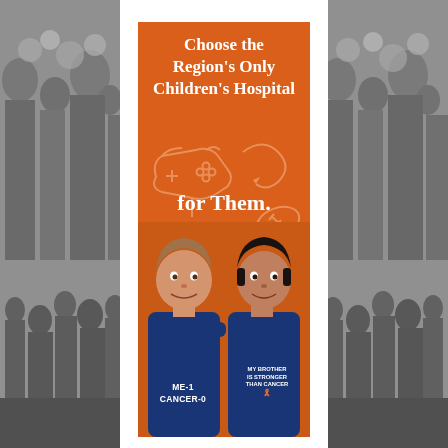[Figure (photo): Advertisement/poster for a children's hospital. Orange background poster in center with two smiling boys in navy blue t-shirts. Left boy's shirt reads 'ME-1 CANCER-0'. Right boy's shirt reads 'MY BROTHER IS STRONGER THAN CANCER' with an orange ribbon. Poster text reads 'Choose the Region's Only Children's Hospital for Them.' with doodle illustrations of a game controller and football. Left and right sides show a blurred black-and-white crowd/street scene background.]